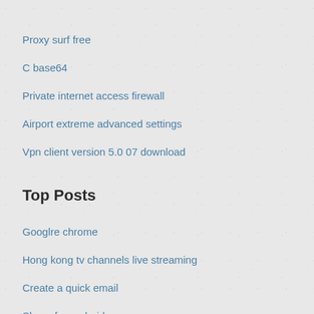Proxy surf free
C base64
Private internet access firewall
Airport extreme advanced settings
Vpn client version 5.0 07 download
Top Posts
Googlre chrome
Hong kong tv channels live streaming
Create a quick email
Skygo for android